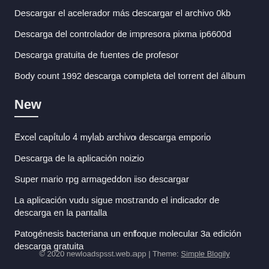Descargar el acelerador más descargar el archivo 0kb
Descarga del controlador de impresora pixma ip6600d
Descarga gratuita de fuentes de profesor
Body count 1992 descarga completa del torrent del álbum
New
Excel capítulo 4 mylab archivo descarga emporio
Descarga de la aplicación noizio
Super mario rpg armageddon iso descargar
La aplicación vudu sigue mostrando el indicador de descarga en la pantalla
Patogénesis bacteriana un enfoque molecular 3a edición descarga gratuita
© 2020 newloadspsst.web.app | Theme: Simple Blogily